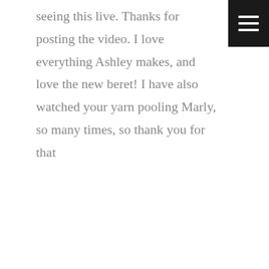seeing this live. Thanks for posting the video. I love everything Ashley makes, and love the new beret! I have also watched your yarn pooling Marly, so many times, so thank you for that
Reply
BELINDA'S BAUBLES says
FEBRUARY 19, 2019 AT 2:43 PM
[Figure (photo): Profile photo of a young woman with her hair up, smiling slightly, wearing a winter coat, photographed indoors.]